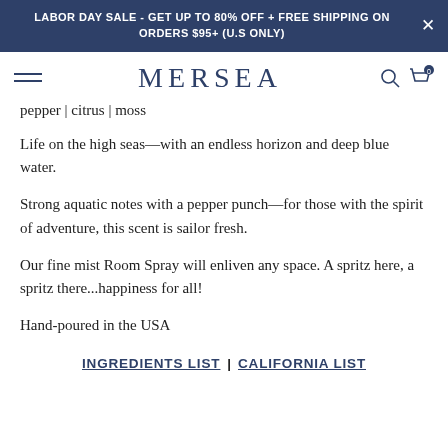LABOR DAY SALE - GET UP TO 80% OFF + FREE SHIPPING ON ORDERS $95+ (U.S ONLY)
MERSEA
pepper | citrus | moss
Life on the high seas—with an endless horizon and deep blue water.
Strong aquatic notes with a pepper punch—for those with the spirit of adventure, this scent is sailor fresh.
Our fine mist Room Spray will enliven any space. A spritz here, a spritz there...happiness for all!
Hand-poured in the USA
INGREDIENTS LIST | CALIFORNIA LIST